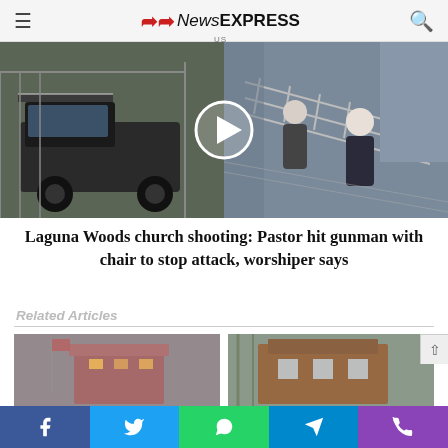NewsEXPRESS US
[Figure (photo): News video thumbnail showing church shooting scene — left side shows a dark truck near a gate, right side shows people on stairs including an elderly woman. A play button circle is overlaid in the center.]
Laguna Woods church shooting: Pastor hit gunman with chair to stop attack, worshiper says
Related Articles
[Figure (photo): Thumbnail image of a building in foggy/overcast conditions with an American flag visible]
[Figure (photo): Thumbnail image of a brick building exterior]
Social share bar: Facebook, Twitter, WhatsApp, Telegram, Phone